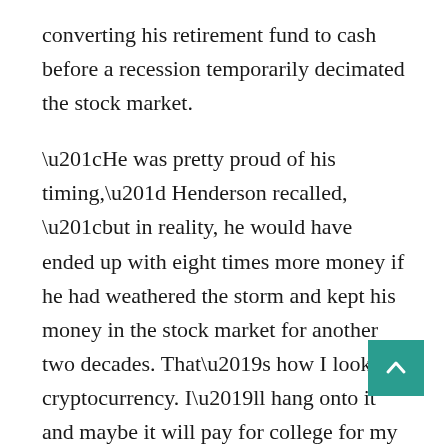converting his retirement fund to cash before a recession temporarily decimated the stock market.
“He was pretty proud of his timing,” Henderson recalled, “but in reality, he would have ended up with eight times more money if he had weathered the storm and kept his money in the stock market for another two decades. That’s how I look at cryptocurrency. I’ll hang onto it and maybe it will pay for college for my kids. If not, I was prepared for the loss.”
Colin Ash, an urban planner in New Orleans